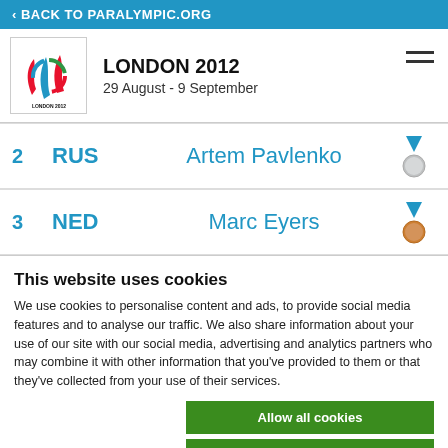< BACK TO PARALYMPIC.ORG
[Figure (logo): London 2012 Paralympics logo with red and blue flame shapes and Agitos symbol]
LONDON 2012
29 August - 9 September
| Rank | Country | Athlete | Medal |
| --- | --- | --- | --- |
| 2 | RUS | Artem Pavlenko | Silver |
| 3 | NED | Marc Evers | Bronze |
This website uses cookies
We use cookies to personalise content and ads, to provide social media features and to analyse our traffic. We also share information about your use of our site with our social media, advertising and analytics partners who may combine it with other information that you've provided to them or that they've collected from your use of their services.
Allow all cookies | Allow selection | Use necessary cookies only
Necessary (checked) | Preferences | Statistics | Marketing | Show details